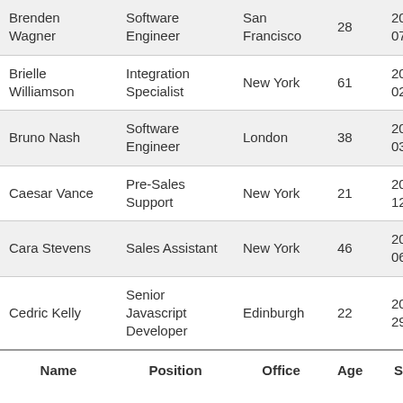| Name | Position | Office | Age | Start date | S |
| --- | --- | --- | --- | --- | --- |
| Brenden Wagner | Software Engineer | San Francisco | 28 | 2011-06-07 | $ |
| Brielle Williamson | Integration Specialist | New York | 61 | 2012-12-02 | $ |
| Bruno Nash | Software Engineer | London | 38 | 2011-05-03 | $ |
| Caesar Vance | Pre-Sales Support | New York | 21 | 2011-12-12 | $ |
| Cara Stevens | Sales Assistant | New York | 46 | 2011-12-06 | $ |
| Cedric Kelly | Senior Javascript Developer | Edinburgh | 22 | 2012-03-29 | $ |